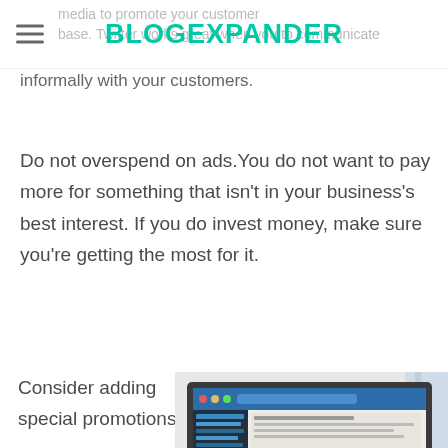BLOGEXPANDER
media to promote your customer base. Twitter works great when you to communicate informally with your customers.
Do not overspend on ads. You do not want to pay more for something that isn't in your business's best interest. If you do invest money, make sure you're getting the most for it.
Consider adding special promotions
[Figure (photo): Person typing on a laptop computer showing a web interface with thumbnails, photographed from above at an angle]